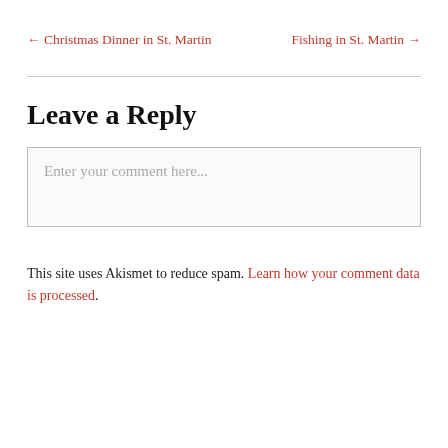← Christmas Dinner in St. Martin
Fishing in St. Martin →
Leave a Reply
Enter your comment here...
This site uses Akismet to reduce spam. Learn how your comment data is processed.